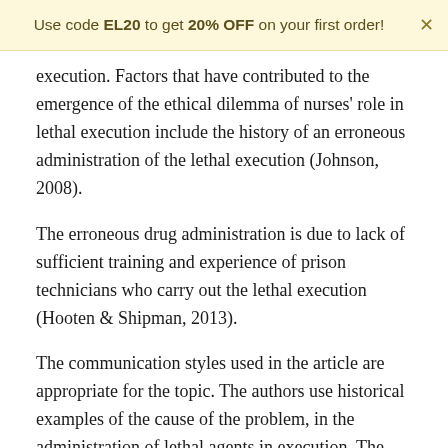Use code EL20 to get 20% OFF on your first order!
execution. Factors that have contributed to the emergence of the ethical dilemma of nurses' role in lethal execution include the history of an erroneous administration of the lethal execution (Johnson, 2008).
The erroneous drug administration is due to lack of sufficient training and experience of prison technicians who carry out the lethal execution (Hooten & Shipman, 2013).
The communication styles used in the article are appropriate for the topic. The authors use historical examples of the cause of the problem, in the administration of lethal agents in execution. The article uses numerical figures to quote research studies that have been done on the topic of the